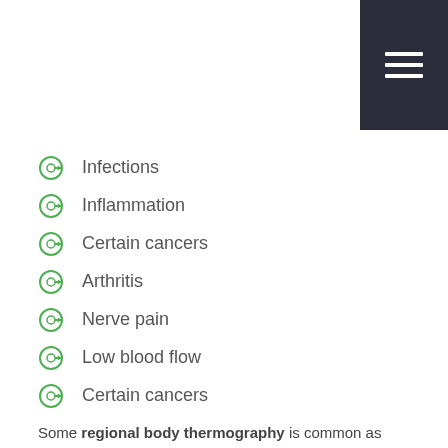Infections
Inflammation
Certain cancers
Arthritis
Nerve pain
Low blood flow
Certain cancers
Some regional body thermography is common as well. This form of thermography focuses on one particular body part or region of the body to identify issues that frequently occur in those areas.
How Does Whole Body Thermography Work?